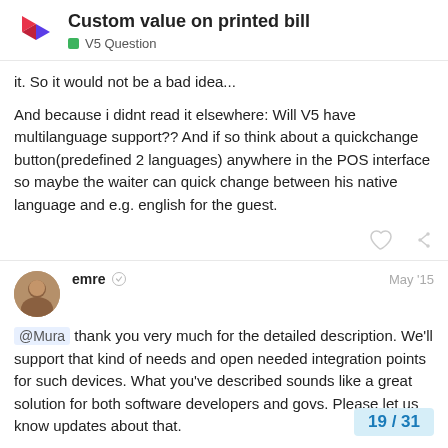Custom value on printed bill — V5 Question
it. So it would not be a bad idea...

And because i didnt read it elsewhere: Will V5 have multilanguage support?? And if so think about a quickchange button(predefined 2 languages) anywhere in the POS interface so maybe the waiter can quick change between his native language and e.g. english for the guest.
emre — May '15
@Mura thank you very much for the detailed description. We'll support that kind of needs and open needed integration points for such devices. What you've described sounds like a great solution for both software developers and govs. Please let us know updates about that.